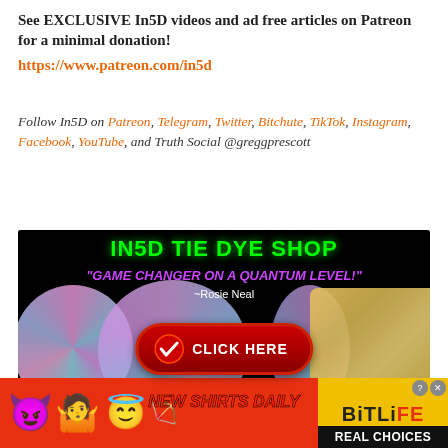See EXCLUSIVE In5D videos and ad free articles on Patreon for a minimal donation!
https://www.patreon.com/in5d
Follow In5D on Patreon, Telegram, Twitter, Bitchute, TikTok, Instagram, Facebook, YouTube, and Truth Social @greggprescott
[Figure (photo): IN5D TIE DYE SHOP banner ad with tie-dye shirts, text reading: IN5D TIE DYE SHOP, GAME CHANGER ON A QUANTUM LEVEL! ~Rosie Neal, CLICK HERE button, NEW SHIRTS DAILY]
[Figure (infographic): BitLife game advertisement banner with red background, emojis (devil, woman shrugging, angel, sperm), BitLife logo in yellow, REAL CHOICES text in white on black]